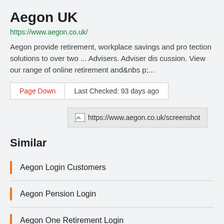Aegon UK
https://www.aegon.co.uk/
Aegon provide retirement, workplace savings and protection solutions to over two ... Advisers. Adviser discussion. View our range of online retirement and&nbsp;...
Page Down   Last Checked: 93 days ago
[Figure (screenshot): Broken image placeholder for https://www.aegon.co.uk/screenshot]
Similar
Aegon Login Customers
Aegon Pension Login
Aegon One Retirement Login